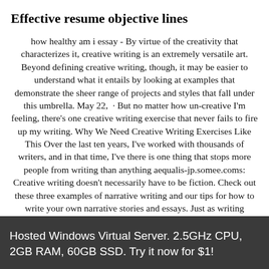Effective resume objective lines
how healthy am i essay - By virtue of the creativity that characterizes it, creative writing is an extremely versatile art. Beyond defining creative writing, though, it may be easier to understand what it entails by looking at examples that demonstrate the sheer range of projects and styles that fall under this umbrella. May 22,  · But no matter how un-creative I'm feeling, there's one creative writing exercise that never fails to fire up my writing. Why We Need Creative Writing Exercises Like This Over the last ten years, I've worked with thousands of writers, and in that time, I've there is one thing that stops more people from writing than anything aequalis-jp.somee.coms: Creative writing doesn't necessarily have to be fiction. Check out these three examples of narrative writing and our tips for how to write your own narrative stories and essays. Just as writing prompts can help give form to amorphous creative energy, using specific writing structures or devices can be great starting points for your next story. essay on writing
Hosted Windows Virtual Server. 2.5GHz CPU, 2GB RAM, 60GB SSD. Try it now for $1!